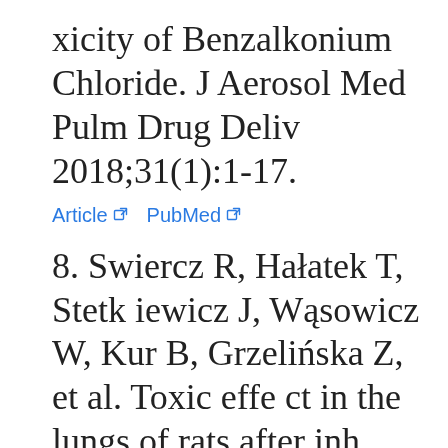xicity of Benzalkonium Chloride. J Aerosol Med Pulm Drug Deliv 2018;31(1):1-17.
Article  PubMed
8. Swiercz R, Hałatek T, Stetkiewicz J, Wąsowicz W, Kur B, Grzelińska Z, et al. Toxic effect in the lungs of rats after inhalation exposure to benzalkonium chloride. Int J Occup Med Environ Health 2013;26(4):347-356.